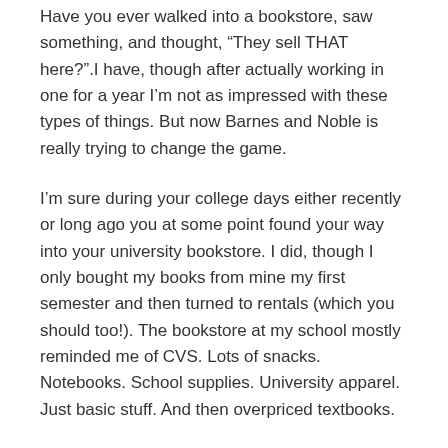Have you ever walked into a bookstore, saw something, and thought, “They sell THAT here?”.I have, though after actually working in one for a year I’m not as impressed with these types of things. But now Barnes and Noble is really trying to change the game.
I’m sure during your college days either recently or long ago you at some point found your way into your university bookstore. I did, though I only bought my books from mine my first semester and then turned to rentals (which you should too!). The bookstore at my school mostly reminded me of CVS. Lots of snacks. Notebooks. School supplies. University apparel. Just basic stuff. And then overpriced textbooks.
But the company behind most college bookstores is